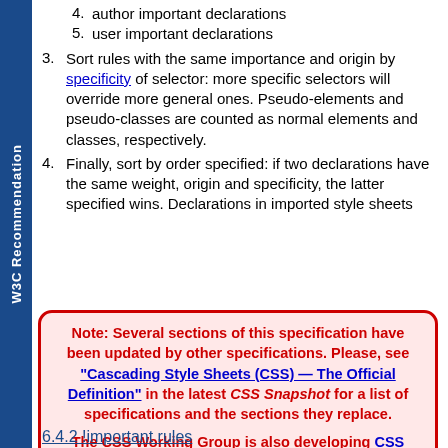W3C Recommendation
4. author important declarations
5. user important declarations
3. Sort rules with the same importance and origin by specificity of selector: more specific selectors will override more general ones. Pseudo-elements and pseudo-classes are counted as normal elements and classes, respectively.
4. Finally, sort by order specified: if two declarations have the same weight, origin and specificity, the latter specified wins. Declarations in imported style sheets are considered to be before any declarations in the style sheet itself.
Note: Several sections of this specification have been updated by other specifications. Please, see "Cascading Style Sheets (CSS) — The Official Definition" in the latest CSS Snapshot for a list of specifications and the sections they replace.

The CSS Working Group is also developing CSS level 2 revision 2 (CSS 2.2).
6.4.2 !important rules